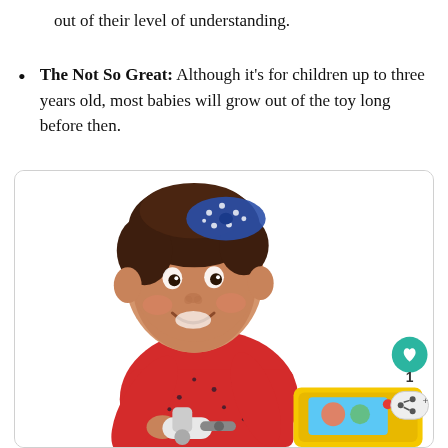out of their level of understanding.
The Not So Great: Although it's for children up to three years old, most babies will grow out of the toy long before then.
[Figure (photo): A smiling baby girl wearing a red top with a blue polka-dot bow in her hair, playing with a toy (appears to be a Fisher-Price tool set with yellow box). UI elements visible: a teal heart/favorite button, the number 1, and a share icon in the bottom-right corner of the photo frame.]